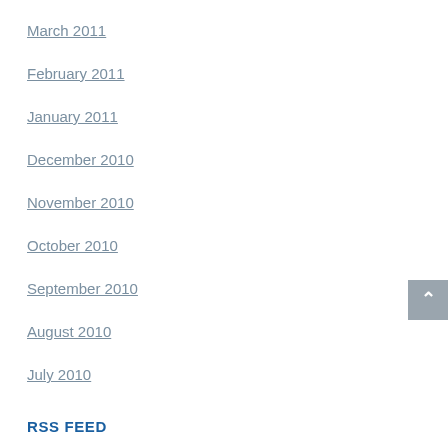March 2011
February 2011
January 2011
December 2010
November 2010
October 2010
September 2010
August 2010
July 2010
RSS FEED